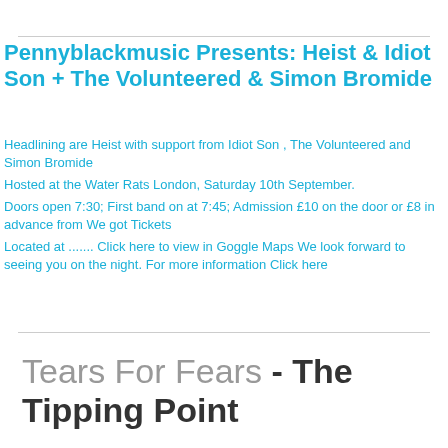Pennyblackmusic Presents: Heist & Idiot Son + The Volunteered & Simon Bromide
Headlining are Heist with support from Idiot Son , The Volunteered and Simon Bromide Hosted at the Water Rats London, Saturday 10th September. Doors open 7:30; First band on at 7:45; Admission £10 on the door or £8 in advance from We got Tickets Located at ....... Click here to view in Goggle Maps We look forward to seeing you on the night. For more information Click here
Tears For Fears - The Tipping Point